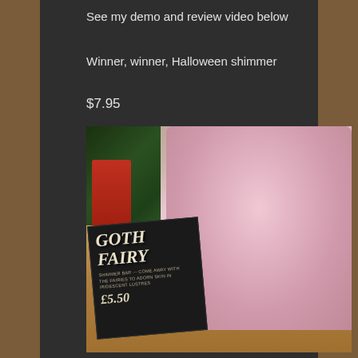See my demo and review video below
Winner, winner, Halloween shimmer
$7.95
[Figure (photo): Photo of pink owl-shaped Lush 'Goth Fairy' shimmer bars displayed in a wooden box in a shop, with a black store sign reading 'GOTH FAIRY - SHIMMER BAR - COME AWAY WITH THE FAIRIES TO ADORN SKIN IN IRIDESCENT LUSTRES' and price £5.50]